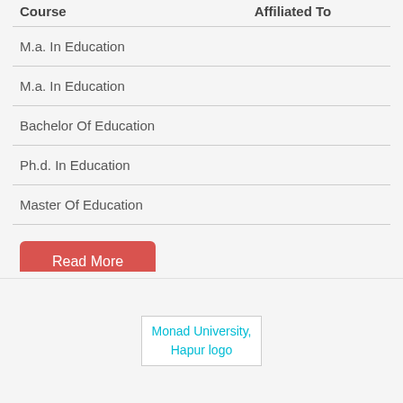| Course | Affiliated To |
| --- | --- |
| M.a. In Education |  |
| M.a. In Education |  |
| Bachelor Of Education |  |
| Ph.d. In Education |  |
| Master Of Education |  |
Read More
[Figure (logo): Monad University, Hapur logo — broken image placeholder with cyan alt text]